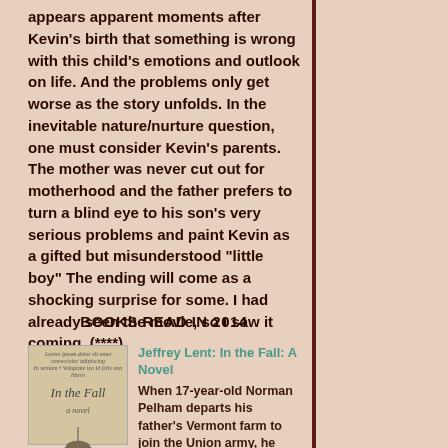appears apparent moments after Kevin's birth that something is wrong with this child's emotions and outlook on life. And the problems only get worse as the story unfolds. In the inevitable nature/nurture question, one must consider Kevin's parents. The mother was never cut out for motherhood and the father prefers to turn a blind eye to his son's very serious problems and paint Kevin as a gifted but misunderstood "little boy" The ending will come as a shocking surprise for some. I had already seen the movie, so I saw it coming. (****)
BOOKS READ IN 2014
[Figure (photo): Book cover of 'In the Fall' by Jeffrey Lent - a novel with italic script title on aged paper background with a figure at the bottom]
Jeffrey Lent: In the Fall: A Novel
When 17-year-old Norman Pelham departs his father's Vermont farm to join the Union army, he